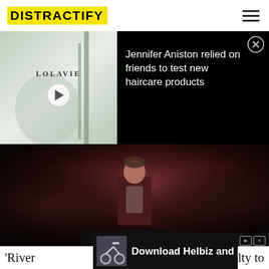DISTRACTIFY
[Figure (screenshot): LOLAVIE branded video thumbnail with play button, white/grey bathroom product background with green plant]
Jennifer Aniston relied on friends to test new haircare products
[Figure (photo): Dark moody still from a TV show or movie, young male in hoodie standing in a dimly lit room]
ENTERTAINMENT
'Riverdale' ... guilty to
[Figure (screenshot): Helbiz advertisement - Download Helbiz and ride - showing electric scooter handlebars]